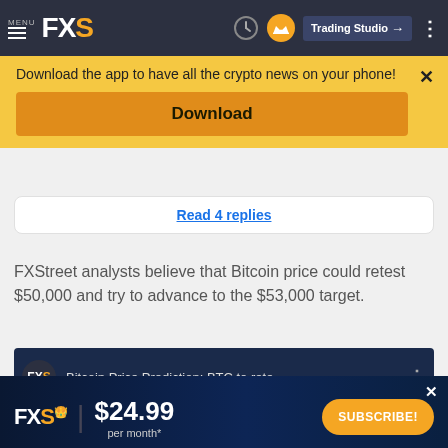MENU FXS | Trading Studio
Download the app to have all the crypto news on your phone!
Download
Read 4 replies
FXStreet analysts believe that Bitcoin price could retest $50,000 and try to advance to the $53,000 target.
[Figure (screenshot): FXS video thumbnail: Bitcoin Price Prediction: BTC to rete...]
[Figure (infographic): FXS subscription ad: $24.99 per month* with SUBSCRIBE! button]
©2022 "FXStreet" All Rights Reserved   Disclaimer ▲